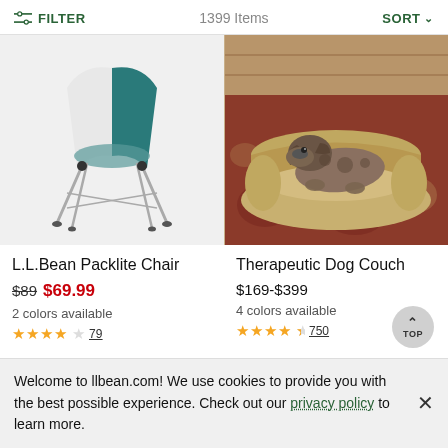FILTER  1399 Items  SORT
[Figure (photo): L.L.Bean Packlite Chair — a lightweight foldable camping chair with teal and white fabric seat and silver aluminum legs, shown on white background]
[Figure (photo): Therapeutic Dog Couch — a tan/khaki bolster dog bed with a German Shorthaired Pointer dog resting on it, placed on a red floral area rug on wood floor]
L.L.Bean Packlite Chair
$89 $69.99
2 colors available
★★★★☆ 79
Therapeutic Dog Couch
$169-$399
4 colors available
★★★★½ 750
Welcome to llbean.com! We use cookies to provide you with the best possible experience. Check out our privacy policy to learn more.